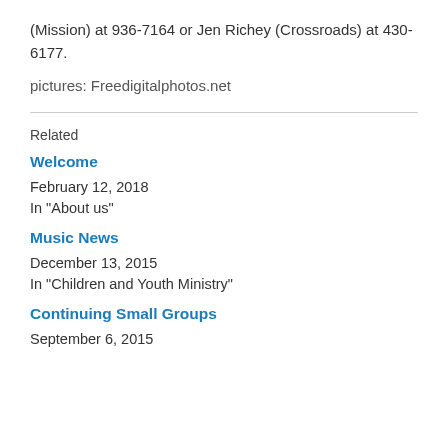(Mission) at 936-7164 or Jen Richey (Crossroads) at 430-6177.
pictures: Freedigitalphotos.net
Related
Welcome
February 12, 2018
In "About us"
Music News
December 13, 2015
In "Children and Youth Ministry"
Continuing Small Groups
September 6, 2015